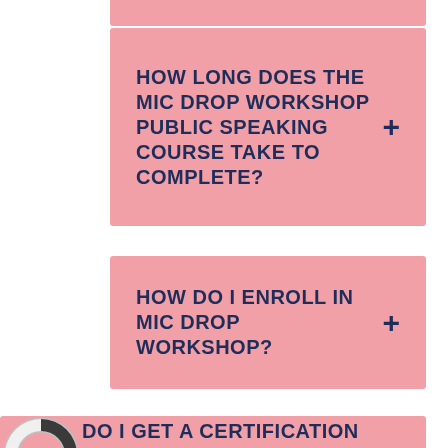HOW LONG DOES THE MIC DROP WORKSHOP PUBLIC SPEAKING COURSE TAKE TO COMPLETE?
HOW DO I ENROLL IN MIC DROP WORKSHOP?
DO I GET A CERTIFICATION AFTER COMPLETING THE MIC DROP WORKSHOP PUBLIC SPEAKING COURSE?